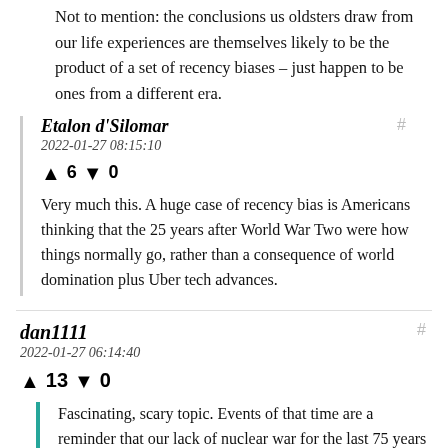Not to mention: the conclusions us oldsters draw from our life experiences are themselves likely to be the product of a set of recency biases – just happen to be ones from a different era.
Etalon d'Silomar
2022-01-27 08:15:10
↑ 6 ↓ 0
Very much this. A huge case of recency bias is Americans thinking that the 25 years after World War Two were how things normally go, rather than a consequence of world domination plus Uber tech advances.
dan1111
2022-01-27 06:14:40
↑ 13 ↓ 0
Fascinating, scary topic. Events of that time are a reminder that our lack of nuclear war for the last 75 years was far